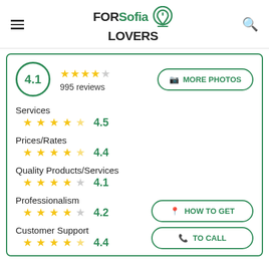[Figure (logo): FORSofia LOVERS logo with map pin and leaf icon]
4.1 · 995 reviews
MORE PHOTOS
Services · 4.5
Prices/Rates · 4.4
Quality Products/Services · 4.1
Professionalism · 4.2
Customer Support · 4.4
HOW TO GET
TO CALL